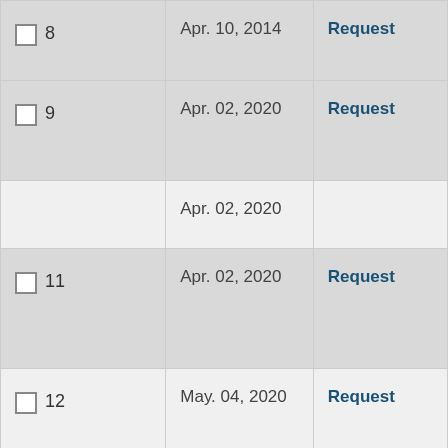| # | Date | Action |
| --- | --- | --- |
| 8 | Apr. 10, 2014 | Request |
| 9 | Apr. 02, 2020 | Request |
|  | Apr. 02, 2020 |  |
| 11 | Apr. 02, 2020 | Request |
| 12 | May. 04, 2020 | Request |
| 13 | May. 04, 2020 | Request |